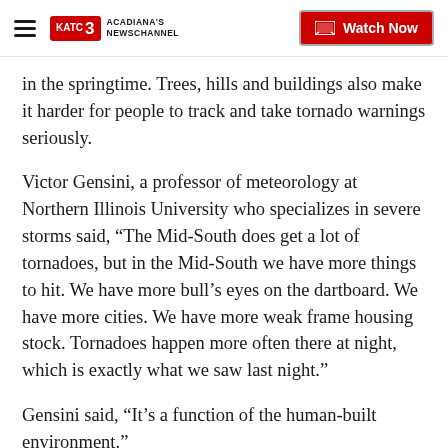Acadiana's Newschannel — Watch Now
in the springtime. Trees, hills and buildings also make it harder for people to track and take tornado warnings seriously.
Victor Gensini, a professor of meteorology at Northern Illinois University who specializes in severe storms said, “The Mid-South does get a lot of tornadoes, but in the Mid-South we have more things to hit. We have more bull’s eyes on the dartboard. We have more cities. We have more weak frame housing stock. Tornadoes happen more often there at night, which is exactly what we saw last night.”
Gensini said, “It’s a function of the human-built environment.”